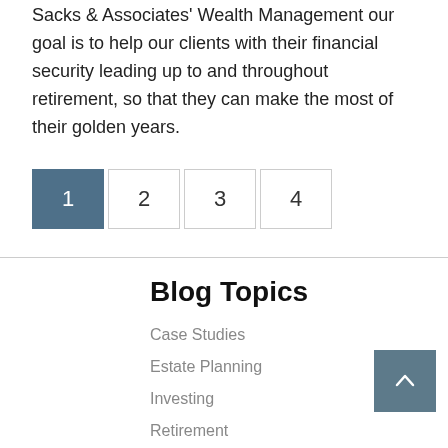Sacks & Associates Wealth Management our goal is to help our clients with their financial security leading up to and throughout retirement, so that they can make the most of their golden years.
1
2
3
4
Blog Topics
Case Studies
Estate Planning
Investing
Retirement
Risk Management